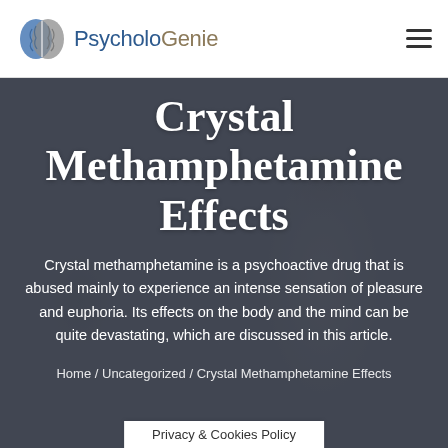PsycholoGenie
Crystal Methamphetamine Effects
Crystal methamphetamine is a psychoactive drug that is abused mainly to experience an intense sensation of pleasure and euphoria. Its effects on the body and the mind can be quite devastating, which are discussed in this article.
Home / Uncategorized / Crystal Methamphetamine Effects
Privacy & Cookies Policy